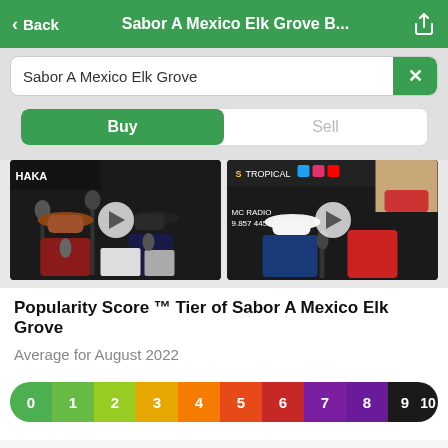< Back   Sabor A Mexico Elk Grove B...
Sabor A Mexico Elk Grove
Buy   Sell
[Figure (screenshot): Two video thumbnails showing men in a radio studio with cowboy hats, each with a play button overlay]
Popularity Score ™ Tier of Sabor A Mexico Elk Grove
Average for August 2022
[Figure (infographic): Popularity score color bar from 0 to 10, progressing green through yellow, orange, red, purple, to black]